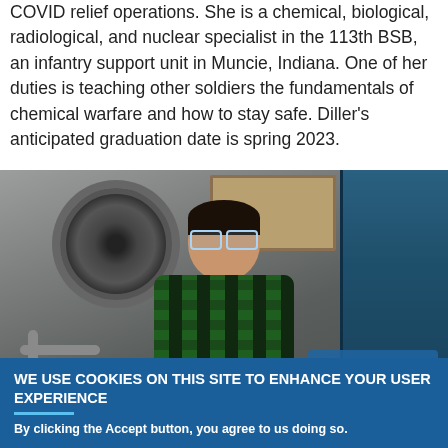COVID relief operations. She is a chemical, biological, radiological, and nuclear specialist in the 113th BSB, an infantry support unit in Muncie, Indiana. One of her duties is teaching other soldiers the fundamentals of chemical warfare and how to stay safe. Diller's anticipated graduation date is spring 2023.
[Figure (photo): Person wearing a green and navy plaid flannel shirt and blue-framed glasses, smiling at the camera. Behind them is an industrial space with a large circular fan on a corrugated metal wall, and a blue equipment cabinet on the right. There is a 'Privacy settings' overlay button in the lower right of the photo.]
Privacy settings
WE USE COOKIES ON THIS SITE TO ENHANCE YOUR USER EXPERIENCE
By clicking the Accept button, you agree to us doing so.